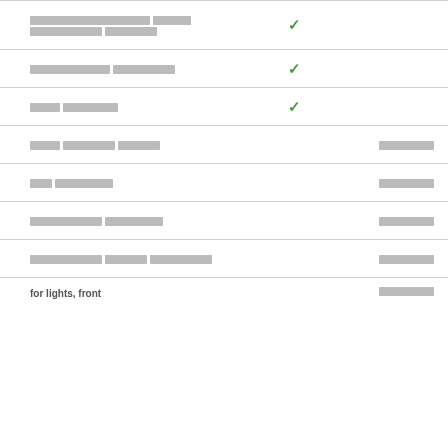| Feature | Included | Value |
| --- | --- | --- |
| ██████ ████ ██████████ ███████ | ✓ |  |
| ███████ █████████ | ✓ |  |
| ████ ███████ | ✓ |  |
| ████ ████████ ██████ |  | █████████ |
| ███ ████████ |  | █████████ |
| ██████████ █████████ |  | █████████ |
| ██████████ ██████ █████████ |  | █████████ |
| for lights, front |  | █████████ |